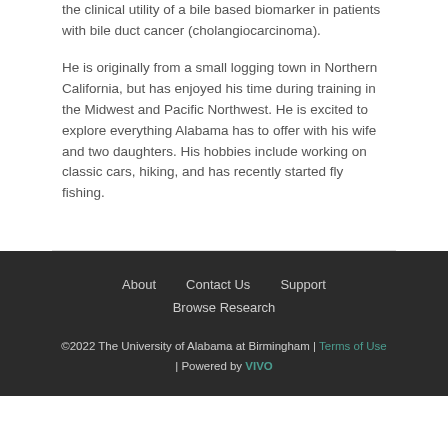the clinical utility of a bile based biomarker in patients with bile duct cancer (cholangiocarcinoma).
He is originally from a small logging town in Northern California, but has enjoyed his time during training in the Midwest and Pacific Northwest. He is excited to explore everything Alabama has to offer with his wife and two daughters. His hobbies include working on classic cars, hiking, and has recently started fly fishing.
About | Contact Us | Support | Browse Research | ©2022 The University of Alabama at Birmingham | Terms of Use | Powered by VIVO